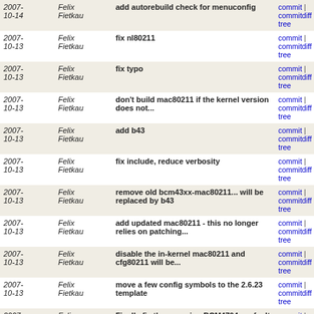| Date | Author | Message | Links |
| --- | --- | --- | --- |
| 2007-10-14 | Felix Fietkau | add autorebuild check for menuconfig | commit | commitdiff | tree |
| 2007-10-13 | Felix Fietkau | fix nl80211 | commit | commitdiff | tree |
| 2007-10-13 | Felix Fietkau | fix typo | commit | commitdiff | tree |
| 2007-10-13 | Felix Fietkau | don't build mac80211 if the kernel version does not... | commit | commitdiff | tree |
| 2007-10-13 | Felix Fietkau | add b43 | commit | commitdiff | tree |
| 2007-10-13 | Felix Fietkau | fix include, reduce verbosity | commit | commitdiff | tree |
| 2007-10-13 | Felix Fietkau | remove old bcm43xx-mac80211... will be replaced by b43 | commit | commitdiff | tree |
| 2007-10-13 | Felix Fietkau | add updated mac80211 - this no longer relies on patching... | commit | commitdiff | tree |
| 2007-10-13 | Felix Fietkau | disable the in-kernel mac80211 and cfg80211 will be... | commit | commitdiff | tree |
| 2007-10-13 | Felix Fietkau | move a few config symbols to the 2.6.23 template | commit | commitdiff | tree |
| 2007-10-13 | Felix Fietkau | Finally fix the annoying BCM4704 segfault issues (... | commit | commitdiff | tree |
| 2007-10-13 | Felix Fietkau | back out change to generic-2.6/files/ and update 310... | commit | commitdiff | tree |
next